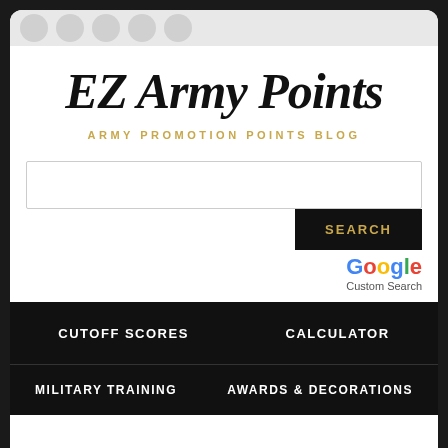EZ Army Points
ARMY PROMOTION POINTS BLOG
[Figure (screenshot): Search input box with Search button and Google Custom Search branding]
CUTOFF SCORES
CALCULATOR
MILITARY TRAINING
AWARDS & DECORATIONS